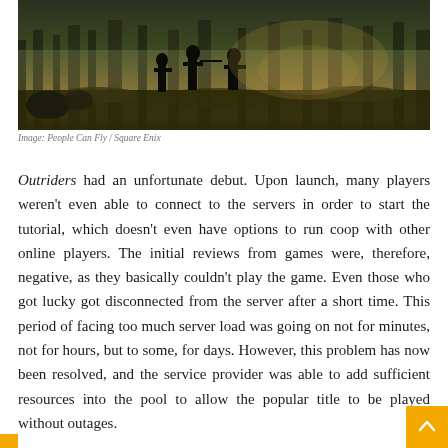[Figure (photo): Dark atmospheric screenshot from the game Outriders showing silhouettes of armed soldiers in a misty forest setting with golden/brown lighting]
Image: People Can Fly / Square Enix
Outriders had an unfortunate debut. Upon launch, many players weren't even able to connect to the servers in order to start the tutorial, which doesn't even have options to run coop with other online players. The initial reviews from games were, therefore, negative, as they basically couldn't play the game. Even those who got lucky got disconnected from the server after a short time. This period of facing too much server load was going on not for minutes, not for hours, but to some, for days. However, this problem has now been resolved, and the service provider was able to add sufficient resources into the pool to allow the popular title to be played without outages.